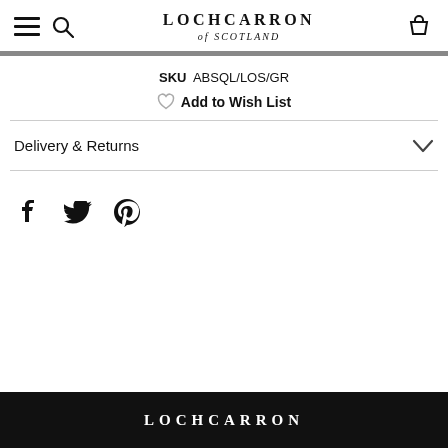LOCHCARRON of SCOTLAND
SKU ABSQL/LOS/GR
Add to Wish List
Delivery & Returns
[Figure (other): Social media share icons: Facebook, Twitter, Pinterest]
LOCHCARRON